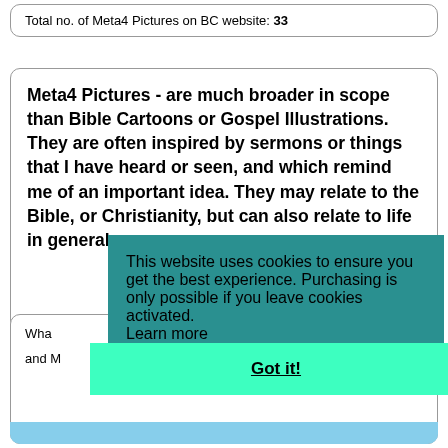Total no. of Meta4 Pictures on BC website: 33
Meta4 Pictures - are much broader in scope than Bible Cartoons or Gospel Illustrations. They are often inspired by sermons or things that I have heard or seen, and which remind me of an important idea. They may relate to the Bible, or Christianity, but can also relate to life in general, or even spa...
This website uses cookies to ensure you get the best experience. Purchasing is only possible if you leave cookies activated.
Learn more
Got it!
Wha... and M...